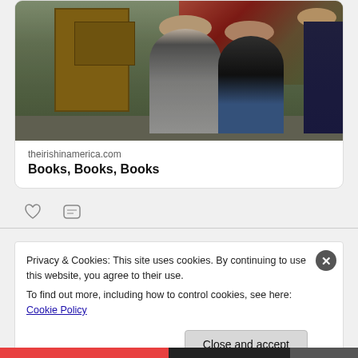[Figure (photo): Three people standing outside a rustic stone building with a wooden door and ivy-covered wall]
theirishinamerica.com
Books, Books, Books
Privacy & Cookies: This site uses cookies. By continuing to use this website, you agree to their use.
To find out more, including how to control cookies, see here: Cookie Policy
Close and accept